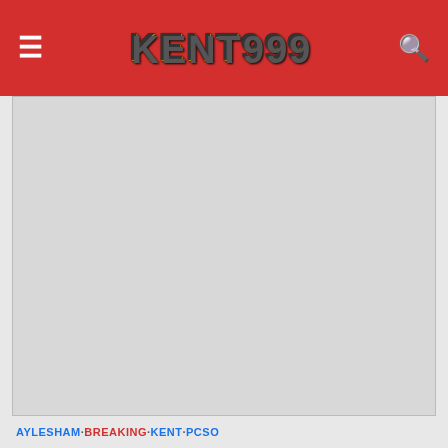KENT 999
[Figure (other): Advertisement banner placeholder (gray rectangle)]
AYLESHAM · BREAKING · KENT · PCSO
TERRIFIED LOCALS CLAIM FEMALE DOG WALKER WAS CONFRONTED BY PROWLER IN A VAN ONE MILE AWAY FROM WHERE PCSO, 53, WAS MURDERED WEEKS LATER